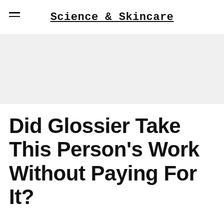Science & Skincare
[Figure (other): Light gray banner/placeholder image area]
Did Glossier Take This Person's Work Without Paying For It?